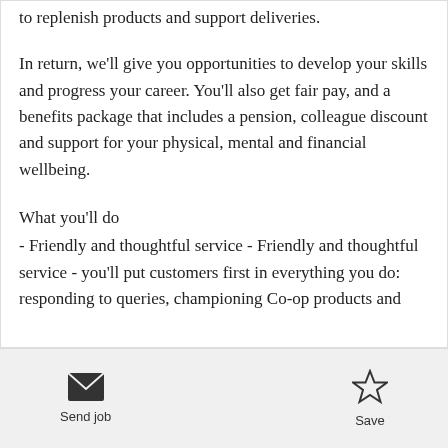to replenish products and support deliveries.
In return, we'll give you opportunities to develop your skills and progress your career. You'll also get fair pay, and a benefits package that includes a pension, colleague discount and support for your physical, mental and financial wellbeing.
What you'll do
- Friendly and thoughtful service - Friendly and thoughtful service - you'll put customers first in everything you do: responding to queries, championing Co-op products and
Send job | Save